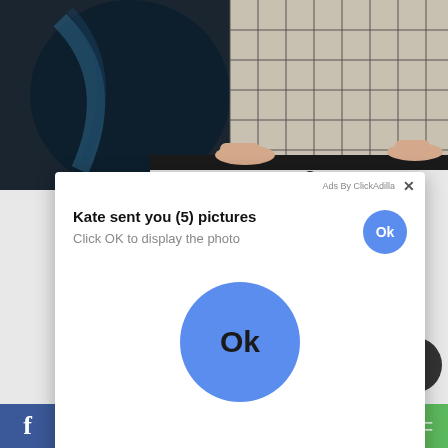[Figure (photo): Background photo showing a dark surface and tiled wall with a person's hands/feet visible near what appears to be a bathtub edge]
Ads By ClickAdilla ×
Kate sent you (5) pictures
Click OK to display the photo
[Figure (other): Large blue circular Ok button in center of popup]
f
2sd